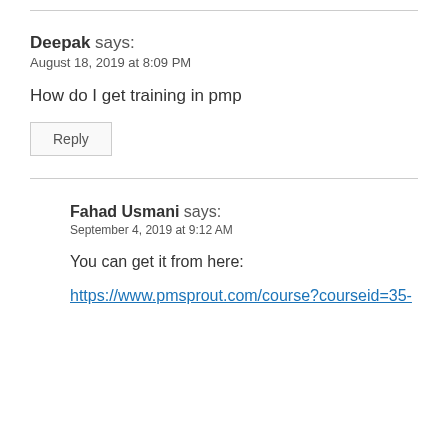Deepak says:
August 18, 2019 at 8:09 PM
How do I get training in pmp
Reply
Fahad Usmani says:
September 4, 2019 at 9:12 AM
You can get it from here:
https://www.pmsprout.com/course?courseid=35-